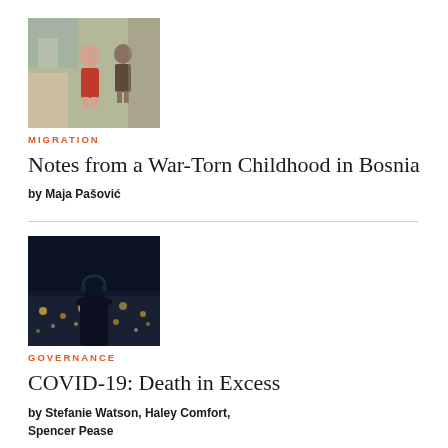[Figure (photo): Children in a colorful indoor scene, one child in a red dress, wartime Bosnia theme]
MIGRATION
Notes from a War-Torn Childhood in Bosnia
by Maja Pašović
[Figure (photo): Silhouette of a person standing at night with city lights in the background]
GOVERNANCE
COVID-19: Death in Excess
by Stefanie Watson, Haley Comfort, Spencer Pease